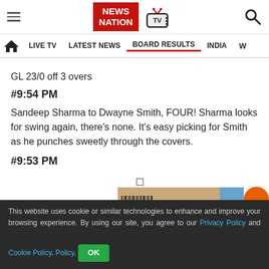NEWS NATION | LIVE TV | LATEST NEWS | BOARD RESULTS | INDIA
GL 23/0 off 3 overs
#9:54 PM
Sandeep Sharma to Dwayne Smith, FOUR! Sharma looks for swing again, there's none. It's easy picking for Smith as he punches sweetly through the covers.
#9:53 PM
This website uses cookie or similar technologies to enhance and improve your browsing experience. By using our site, you agree to our Privacy Policy and Cookie Policy.